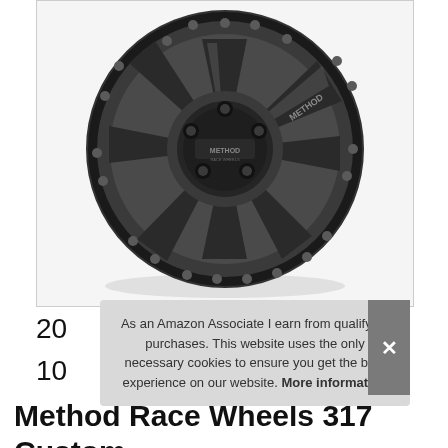[Figure (photo): Method Race Wheels alloy wheel in matte black/gunmetal finish, 8-spoke design with beadlock-style ring and METHOD logo center cap, displayed on white background]
As an Amazon Associate I earn from qualifying purchases. This website uses the only necessary cookies to ensure you get the best experience on our website. More information
20
10
Method Race Wheels 317 Custom